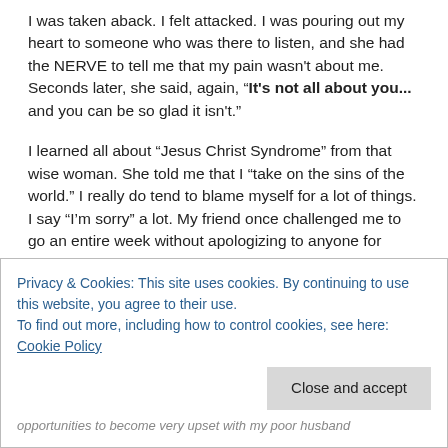I was taken aback.  I felt attacked.  I was pouring out my heart to someone who was there to listen, and she had the NERVE to tell me that my pain wasn't about me.  Seconds later, she said, again, "It's not all about you...  and you can be so glad it isn't."
I learned all about “Jesus Christ Syndrome” from that wise woman.  She told me that I “take on the sins of the world.”  I really do tend to blame myself for a lot of things.  I say “I’m sorry” a lot.  My friend once challenged me to go an entire week without apologizing to anyone for anything (I didn't make it).
This morning I had a reminder that “it’s not all about me.”
Privacy & Cookies: This site uses cookies. By continuing to use this website, you agree to their use.
To find out more, including how to control cookies, see here: Cookie Policy
opportunities to become very upset with my poor husband